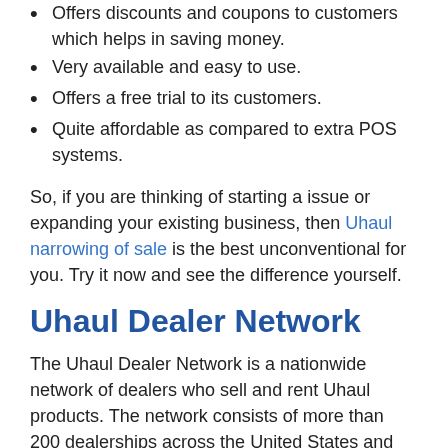Offers discounts and coupons to customers which helps in saving money.
Very available and easy to use.
Offers a free trial to its customers.
Quite affordable as compared to extra POS systems.
So, if you are thinking of starting a issue or expanding your existing business, then Uhaul narrowing of sale is the best unconventional for you. Try it now and see the difference yourself.
Uhaul Dealer Network
The Uhaul Dealer Network is a nationwide network of dealers who sell and rent Uhaul products. The network consists of more than 200 dealerships across the United States and Canada. The